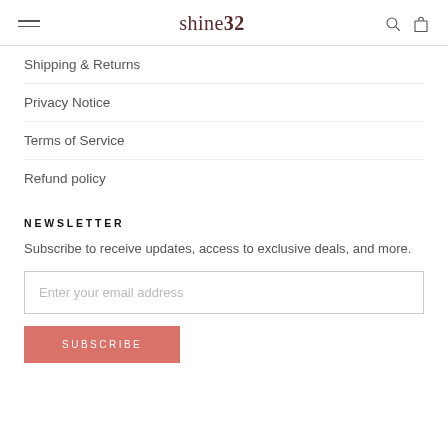shine32
Shipping & Returns
Privacy Notice
Terms of Service
Refund policy
NEWSLETTER
Subscribe to receive updates, access to exclusive deals, and more.
Enter your email address
SUBSCRIBE